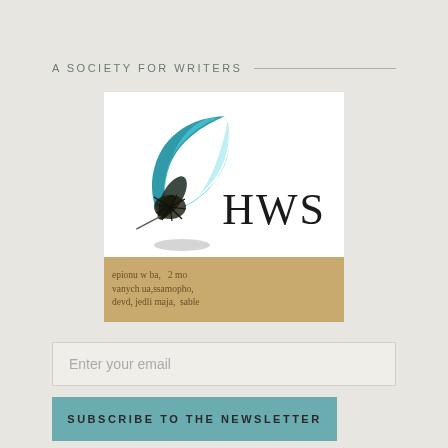A SOCIETY FOR WRITERS
[Figure (logo): HWS logo featuring a teal feather quill pen with shadow on white background, and a parchment-style band at the bottom with old text. The letters HWS appear in large serif font.]
Enter your email
SUBSCRIBE TO THE NEWSLETTER